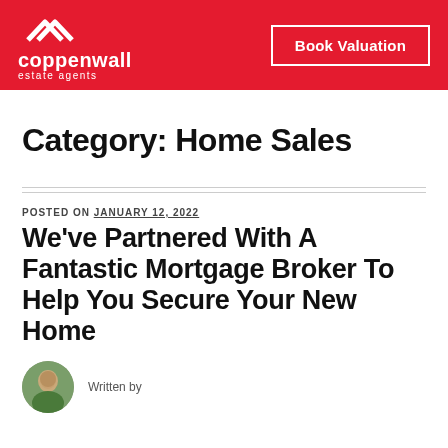coppenwall estate agents | Book Valuation
Category: Home Sales
POSTED ON JANUARY 12, 2022
We’ve Partnered With A Fantastic Mortgage Broker To Help You Secure Your New Home
[Figure (photo): Circular author avatar photo showing a person outdoors]
Written by